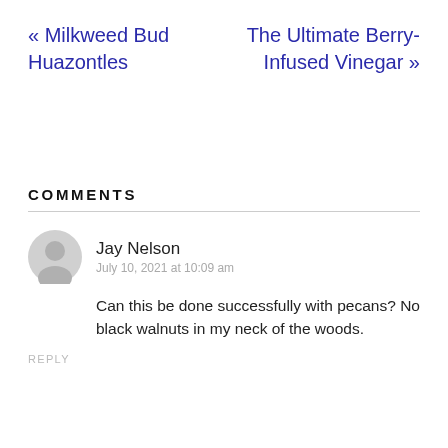« Milkweed Bud Huazontles
The Ultimate Berry-Infused Vinegar »
COMMENTS
Jay Nelson
July 10, 2021 at 10:09 am
Can this be done successfully with pecans? No black walnuts in my neck of the woods.
REPLY